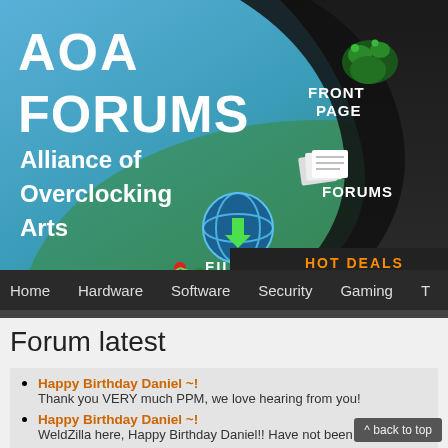[Figure (screenshot): AOA Forums banner with logo text 'AOA FORUMS Alliance of Overclocking Arts' on blue-green gradient background, with navigation icons: FRONT PAGE (lizard icon), FORUMS (papers icon), FILES (globe/download icon), F@H (molecule icon), and HOT DEALS label on dark bar]
Home   Hardware   Software   Security   Gaming   T...
Forum latest
Happy Birthday Daniel ~!
Thank you VERY much PPM, we love hearing from you!
Happy Birthday Daniel ~!
WeldZilla here, Happy Birthday Daniel!! Have not been ale to get
Happy Birthday Daniel ~!
^ back to top